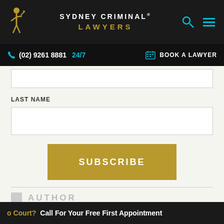SYDNEY CRIMINAL® LAWYERS
(02) 9261 8881 24/7  BOOK A LAWYER
LAST NAME
SUBSCRIBE
AUTHOR
UGUR NEDIM
o Court? Call For Your Free First Appointment